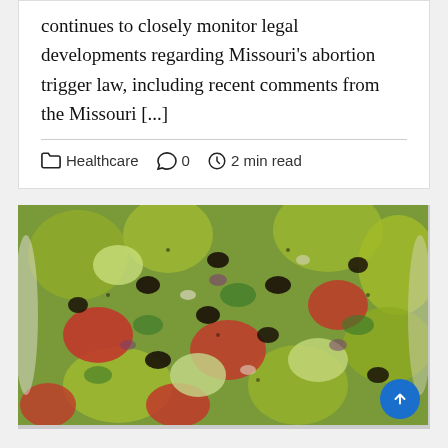continues to closely monitor legal developments regarding Missouri's abortion trigger law, including recent comments from the Missouri [...]
Healthcare  0  2 min read
[Figure (photo): A bowl of salad with avocado, tomatoes, black beans, cucumber, and herbs]